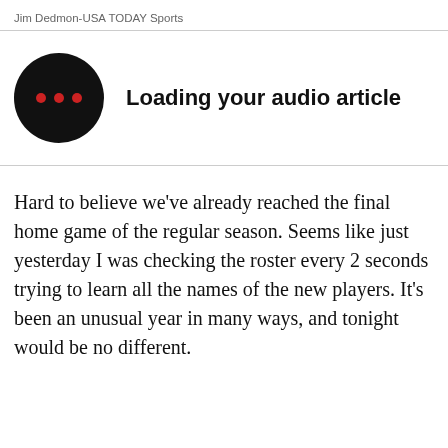[Figure (other): Colorful sports photo strip at top of page]
Jim Dedmon-USA TODAY Sports
[Figure (other): Black circle audio player icon with three red dots, next to text 'Loading your audio article']
Hard to believe we've already reached the final home game of the regular season.  Seems like just yesterday I was checking the roster every 2 seconds trying to learn all the names of the new players.  It's been an unusual year in many ways, and tonight would be no different.